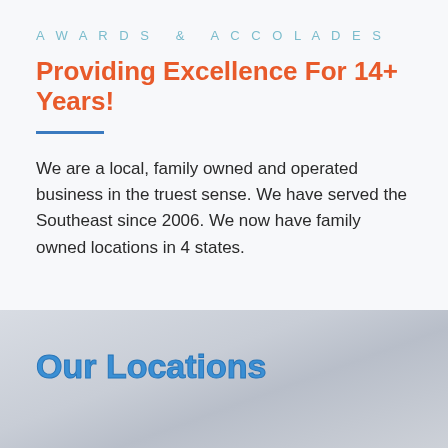AWARDS & ACCOLADES
Providing Excellence For 14+ Years!
We are a local, family owned and operated business in the truest sense. We have served the Southeast since 2006. We now have family owned locations in 4 states.
Our Locations